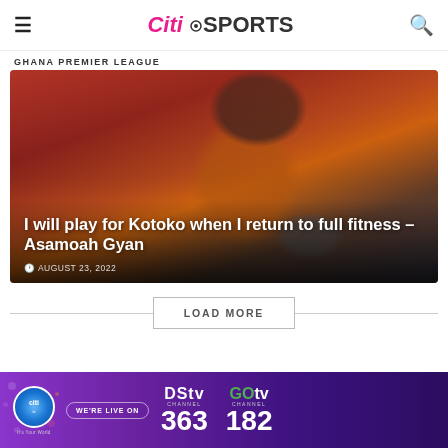Citi SPORTS
GHANA PREMIER LEAGUE
[Figure (photo): Asamoah Gyan in orange and black football jersey holding a ball, celebrating with raised fist and open mouth expression, against a red background]
I will play for Kotoko when I return to full fitness – Asamoah Gyan
AUGUST 23, 2022
LOAD MORE
[Figure (infographic): Citi TV advertisement banner: WE'RE LIVE ON DStv Channel 363 and GOtv Channel 182]